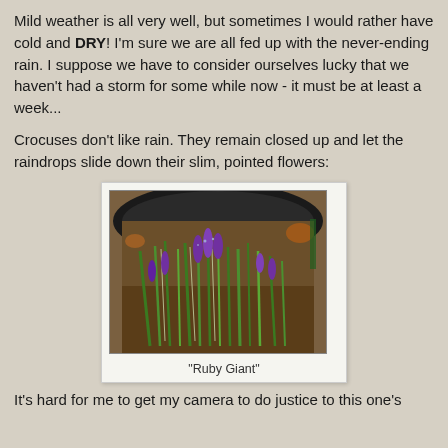Mild weather is all very well, but sometimes I would rather have cold and DRY! I'm sure we are all fed up with the never-ending rain. I suppose we have to consider ourselves lucky that we haven't had a storm for some while now - it must be at least a week...
Crocuses don't like rain. They remain closed up and let the raindrops slide down their slim, pointed flowers:
[Figure (photo): Photo of purple crocus flowers with pointed closed buds growing in a black pot/container, with green slim leaves. Taken from above angle showing the pot rim. Wet conditions implied.]
"Ruby Giant"
It's hard for me to get my camera to do justice to this one's